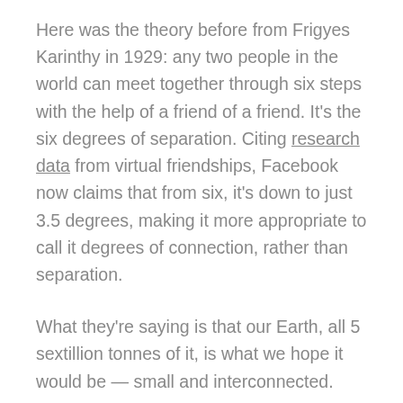Here was the theory before from Frigyes Karinthy in 1929: any two people in the world can meet together through six steps with the help of a friend of a friend. It's the six degrees of separation. Citing research data from virtual friendships, Facebook now claims that from six, it's down to just 3.5 degrees, making it more appropriate to call it degrees of connection, rather than separation.
What they're saying is that our Earth, all 5 sextillion tonnes of it, is what we hope it would be — small and interconnected.
Boarding the bus that would take us from Manila to Baguio and then to Benguet to climb Mount Pulag, the third highest mountain in the Philippines, I wanted to put that theory to test. Are we really only separated by